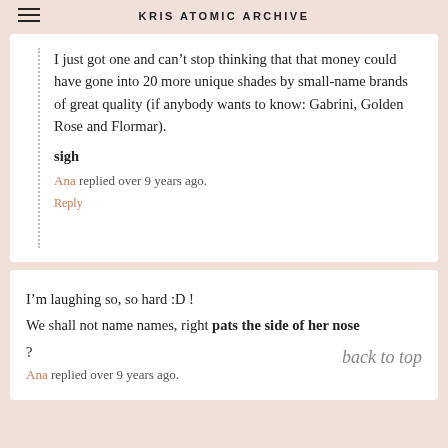KRIS ATOMIC ARCHIVE
I just got one and can’t stop thinking that that money could have gone into 20 more unique shades by small-name brands of great quality (if anybody wants to know: Gabrini, Golden Rose and Flormar).
sigh
Ana replied over 9 years ago.
Reply
I’m laughing so, so hard :D !
We shall not name names, right pats the side of her nose
?
Ana replied over 9 years ago.